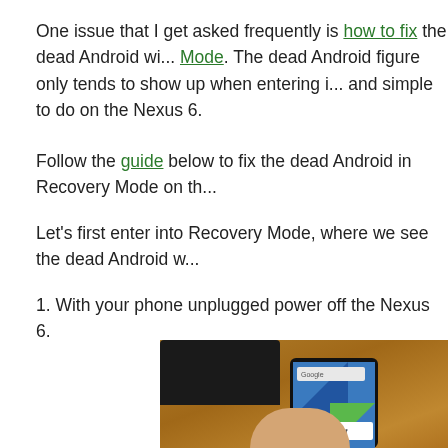One issue that I get asked frequently is how to fix the dead Android wi... Mode. The dead Android figure only tends to show up when entering i... and simple to do on the Nexus 6.
Follow the guide below to fix the dead Android in Recovery Mode on th...
Let's first enter into Recovery Mode, where we see the dead Android w...
1. With your phone unplugged power off the Nexus 6.
[Figure (photo): A Nexus 6 phone held in hand on a wooden desk, showing the Android home screen with a Power off dialog visible on screen.]